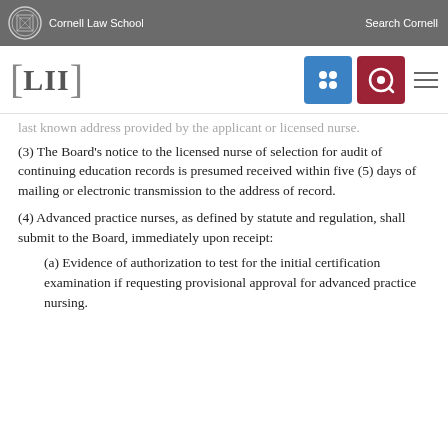Cornell Law School   Search Cornell
[LII]
last known address provided by the applicant or licensed nurse.
(3) The Board's notice to the licensed nurse of selection for audit of continuing education records is presumed received within five (5) days of mailing or electronic transmission to the address of record.
(4) Advanced practice nurses, as defined by statute and regulation, shall submit to the Board, immediately upon receipt:
(a) Evidence of authorization to test for the initial certification examination if requesting provisional approval for advanced practice nursing.